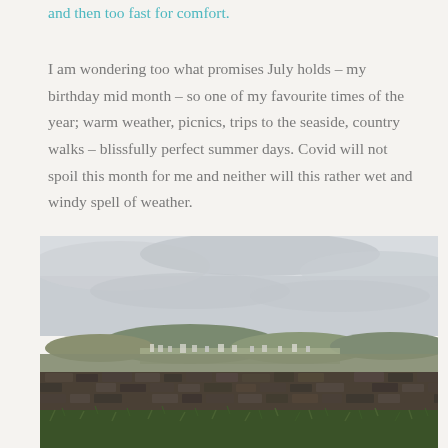and then too fast for comfort.
I am wondering too what promises July holds – my birthday mid month – so one of my favourite times of the year; warm weather, picnics, trips to the seaside, country walks – blissfully perfect summer days. Covid will not spoil this month for me and neither will this rather wet and windy spell of weather.
[Figure (photo): Outdoor landscape photograph showing a view of rolling hills and a small town or village in the distance, under an overcast grey sky. In the foreground is a dry stone wall made of dark stones, with green grass visible below. The hills are green and the sky is cloudy.]